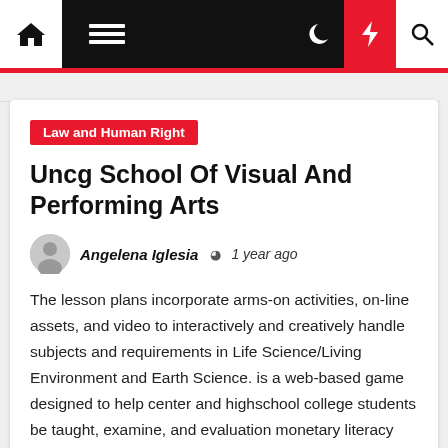Law and Human Right | Uncg School Of Visual And Performing Arts
Law and Human Right
Uncg School Of Visual And Performing Arts
Angelena Iglesia  ⊙ 1 year ago
The lesson plans incorporate arms-on activities, on-line assets, and video to interactively and creatively handle subjects and requirements in Life Science/Living Environment and Earth Science. is a web-based game designed to help center and highschool college students be taught, examine, and evaluation monetary literacy topics while also